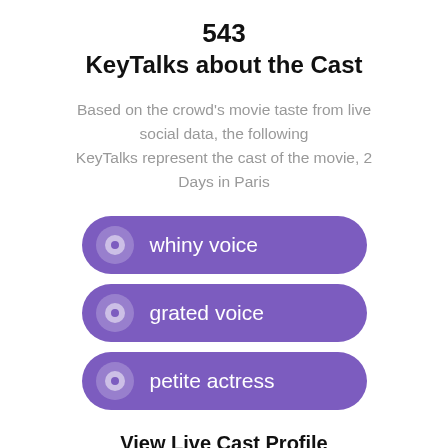543
KeyTalks about the Cast
Based on the crowd's movie taste from live social data, the following KeyTalks represent the cast of the movie, 2 Days in Paris
whiny voice
grated voice
petite actress
View Live Cast Profile
[Figure (photo): Three circular cropped cast member photos at the bottom of the page]